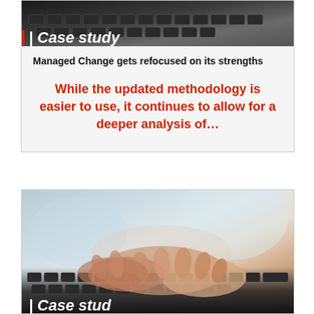[Figure (photo): Dark photo of hands on keyboard with '| Case study' label overlay at bottom, partially cropped at top]
Managed Change gets refocused on its strengths
While the updated methodology is easier to use, it continues to allow for a deeper analysis of…
[Figure (photo): Photo of hands typing on a laptop keyboard, close-up shot, with '| Case study' label overlay at bottom, partially cut off]